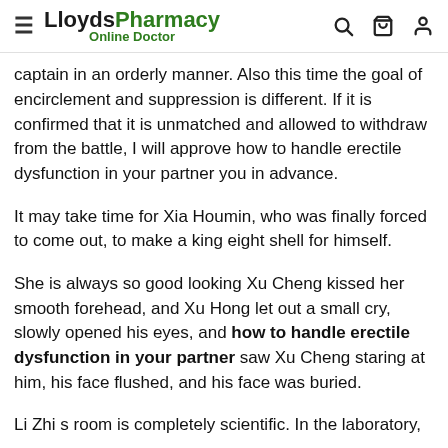LloydsPharmacy Online Doctor
captain in an orderly manner. Also this time the goal of encirclement and suppression is different. If it is confirmed that it is unmatched and allowed to withdraw from the battle, I will approve how to handle erectile dysfunction in your partner you in advance.
It may take time for Xia Houmin, who was finally forced to come out, to make a king eight shell for himself.
She is always so good looking Xu Cheng kissed her smooth forehead, and Xu Hong let out a small cry, slowly opened his eyes, and how to handle erectile dysfunction in your partner saw Xu Cheng staring at him, his face flushed, and his face was buried.
Li Zhi s room is completely scientific. In the laboratory,